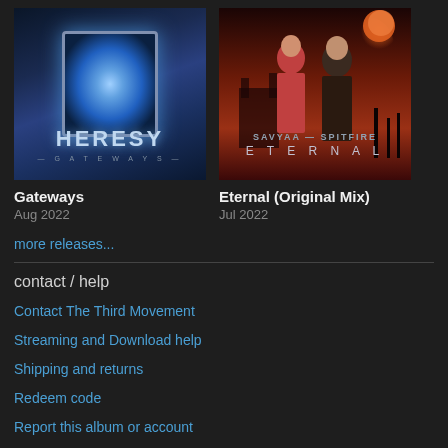[Figure (illustration): Album cover for Heresy - Gateways (Aug 2022). Dark blue fantasy scene with a glowing portal/mirror on a stone pedestal, mountains in background, text HERESY in the lower portion.]
Gateways
Aug 2022
[Figure (illustration): Album cover for Eternal (Original Mix) - Jul 2022. Two figures (a girl and a boy) stand in front of a dramatic orange/red sky with castle silhouette. Artist names Savyaa and Spitfire shown, album title ETERNAL below.]
Eternal (Original Mix)
Jul 2022
more releases...
contact / help
Contact The Third Movement
Streaming and Download help
Shipping and returns
Redeem code
Report this album or account